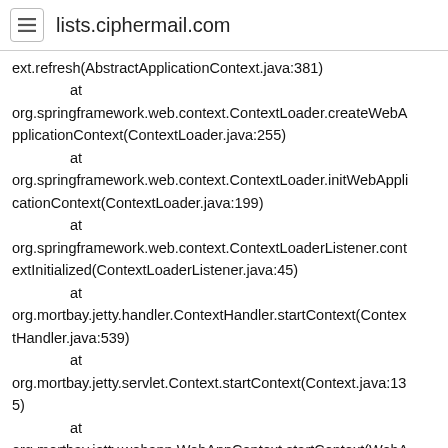lists.ciphermail.com
ext.refresh(AbstractApplicationContext.java:381)
        at
org.springframework.web.context.ContextLoader.createWebApplicationContext(ContextLoader.java:255)
        at
org.springframework.web.context.ContextLoader.initWebApplicationContext(ContextLoader.java:199)
        at
org.springframework.web.context.ContextLoaderListener.contextInitialized(ContextLoaderListener.java:45)
        at
org.mortbay.jetty.handler.ContextHandler.startContext(ContextHandler.java:539)
        at
org.mortbay.jetty.servlet.Context.startContext(Context.java:135)
        at
org.mortbay.jetty.webapp.WebAppContext.startContext(WebAppContext.java:1216)